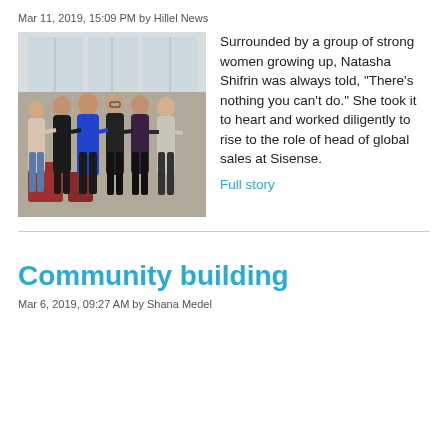Mar 11, 2019, 15:09 PM by Hillel News
[Figure (photo): Group photo of six women standing together indoors, smiling at the camera in a room with large windows and red seating in the background.]
Surrounded by a group of strong women growing up, Natasha Shifrin was always told, “There’s nothing you can’t do.” She took it to heart and worked diligently to rise to the role of head of global sales at Sisense.
Full story
Community building
Mar 6, 2019, 09:27 AM by Shana Medel